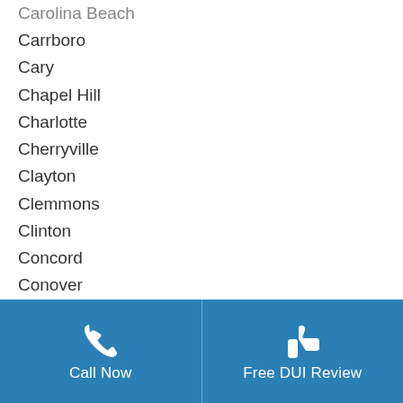Carolina Beach
Carrboro
Cary
Chapel Hill
Charlotte
Cherryville
Clayton
Clemmons
Clinton
Concord
Conover
Cornelius
Davidson
Dunn
Durham
Eden
Edenton
Call Now | Free DUI Review